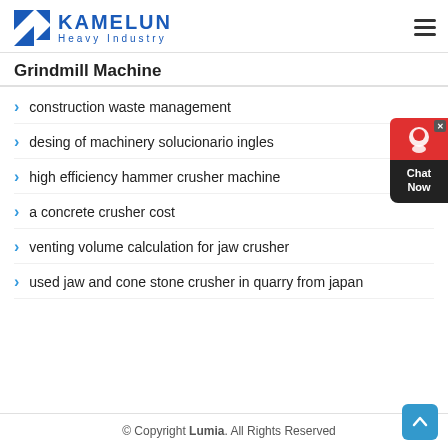KAMELUN Heavy Industry
Grindmill Machine
construction waste management
desing of machinery solucionario ingles
high efficiency hammer crusher machine
a concrete crusher cost
venting volume calculation for jaw crusher
used jaw and cone stone crusher in quarry from japan
© Copyright Lumia. All Rights Reserved